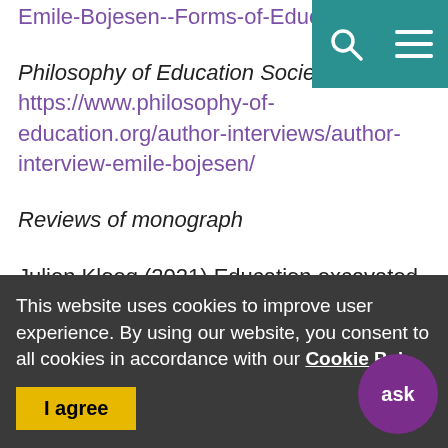Emile-Bojesen--Forms-of-Education-
Philosophy of Education Society of Great Britain website (2020) https://www.philosophy-of-education.org/author-interviews/author-interview-emile-bojesen/
Reviews of monograph
Julien Kloeg (2021) Education excavated, Pedagogy, Culture & Society, Onlinefirst. DOI: 10.1080/14681366.2021.1922981
This website uses cookies to improve user experience. By using our website, you consent to all cookies in accordance with our Cookie Po'
I agree
ask